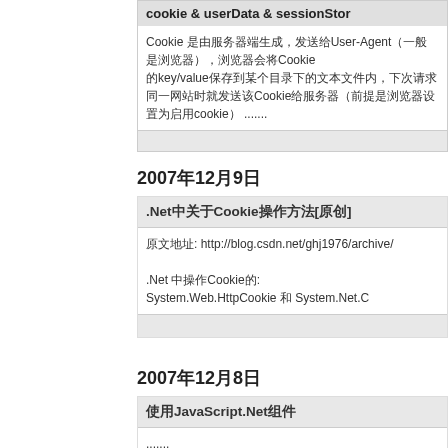cookie & userData & sessionStorage
Cookie 是由服务器端生成，发送给User-Agent（一般是浏览器），浏览器会将Cookie的key/value保存到某个目录下的文本文件内，下次请求同一网站时就发送该Cookie给服务器（前提是浏览器设置为启用cookie）。Cookie名称和值可以由服务器端开发自己定义 .......
2007年12月9日
.Net中关于Cookie操作方法[原创]
原文地址: http://blog.csdn.net/ghj1976/archive/
.Net 中操作Cookie的: System.Web.HttpCookie 和 System.Net.C
2007年12月8日
使用JavaScript.Net组件
.......